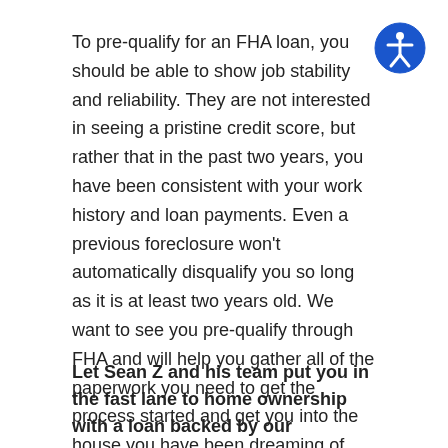To pre-qualify for an FHA loan, you should be able to show job stability and reliability. They are not interested in seeing a pristine credit score, but rather that in the past two years, you have been consistent with your work history and loan payments. Even a previous foreclosure won't automatically disqualify you so long as it is at least two years old. We want to see you pre-qualify through FHA and will help you gather all of the paperwork you need to get the process started and get you into the house you have been dreaming of having.
Let Sean Z and his team put you in the fast lane to home ownership with a loan backed by our